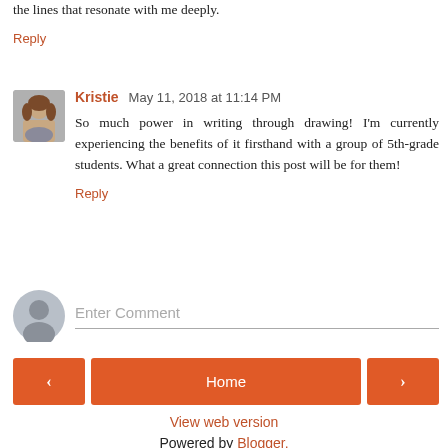the lines that resonate with me deeply.
Reply
Kristie May 11, 2018 at 11:14 PM
So much power in writing through drawing! I'm currently experiencing the benefits of it firsthand with a group of 5th-grade students. What a great connection this post will be for them!
Reply
Enter Comment
Home
View web version
Powered by Blogger.